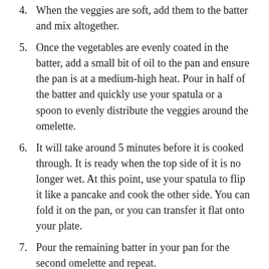4. When the veggies are soft, add them to the batter and mix altogether.
5. Once the vegetables are evenly coated in the batter, add a small bit of oil to the pan and ensure the pan is at a medium-high heat. Pour in half of the batter and quickly use your spatula or a spoon to evenly distribute the veggies around the omelette.
6. It will take around 5 minutes before it is cooked through. It is ready when the top side of it is no longer wet. At this point, use your spatula to flip it like a pancake and cook the other side. You can fold it on the pan, or you can transfer it flat onto your plate.
7. Pour the remaining batter in your pan for the second omelette and repeat.
Notes
You can use black salt for a more ‘eggy’ taste – I